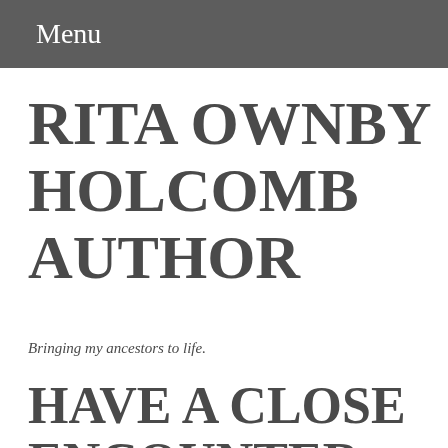Menu
RITA OWNBY HOLCOMB AUTHOR
Bringing my ancestors to life.
HAVE A CLOSE ENCOUNTER WITH HISTORY